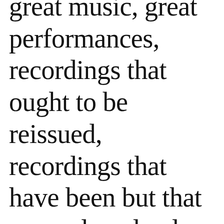great music, great performances, recordings that ought to be reissued, recordings that have been but that are undervalued ... and